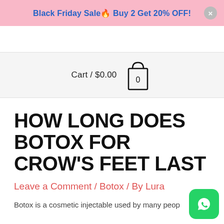Black Friday Sale🔥 Buy 2 Get 20% OFF!
Cart / $0.00  [0]
HOW LONG DOES BOTOX FOR CROW'S FEET LAST
Leave a Comment / Botox / By Lura
Botox is a cosmetic injectable used by many peop…
[Figure (logo): WhatsApp floating button icon (green circle with phone handset)]